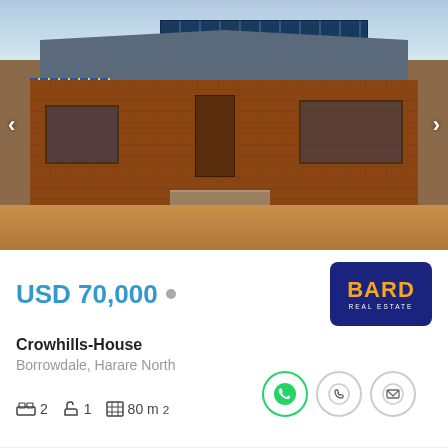[Figure (photo): Exterior photo of a brick house with solar panels on the roof, large windows, and a front door. Red/brown brick construction with red-brown dirt yard in foreground.]
USD 70,000 •
[Figure (logo): BARD REAL ESTATE logo — dark navy blue rounded rectangle background, orange bold BARD text, white REAL ESTATE subtitle]
Crowhills-House
Borrowdale, Harare North
2  1  80 m²